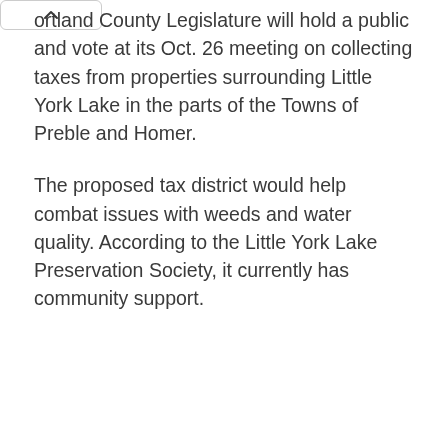ortland County Legislature will hold a public hearing and vote at its Oct. 26 meeting on collecting taxes from properties surrounding Little York Lake in the parts of the Towns of Preble and Homer.
The proposed tax district would help combat issues with weeds and water quality. According to the Little York Lake Preservation Society, it currently has community support.